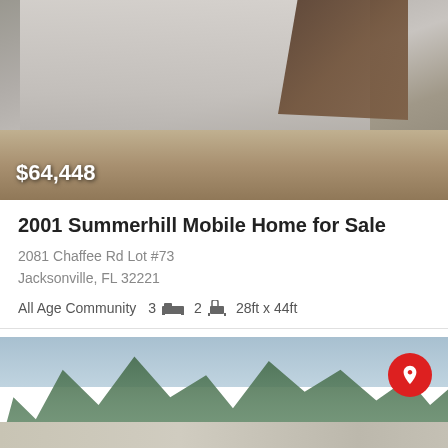[Figure (photo): Exterior photo of a mobile home showing a white fence/wall and wooden staircase. Price overlay shows $64,448.]
2001 Summerhill Mobile Home for Sale
2081 Chaffee Rd Lot #73
Jacksonville, FL 32221
All Age Community  3🛏  2🛁  28ft x 44ft
[Figure (photo): Exterior photo of a mobile home building with trees in background. SAMPLE watermark overlaid. Red map pin icon in top right corner.]